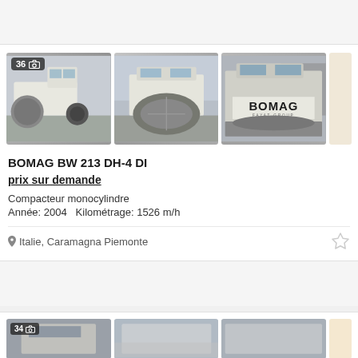[Figure (photo): BOMAG BW 213 DH-4 DI compactor roller - three photos showing side view, front drum view, and front BOMAG logo view]
BOMAG BW 213 DH-4 DI
prix sur demande
Compacteur monocylindre
Année: 2004   Kilométrage: 1526 m/h
Italie, Caramagna Piemonte
[Figure (photo): Second listing - partial view of construction machinery photos (34 photos shown)]